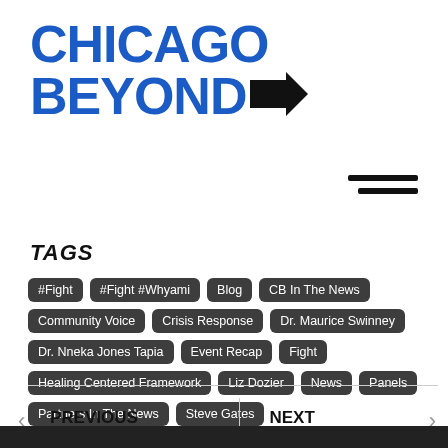[Figure (logo): Chicago Beyond logo with blue bold text and black arrow]
[Figure (other): Hamburger menu icon with two horizontal lines]
TAGS
#Fight
#Fight #Whyami
Blog
CB In The News
Community Voice
Crisis Response
Dr. Maurice Swinney
Dr. Nneka Jones Tapia
Event Recap
Fight
Healing Centered Framework
Liz Dozier
News
Panels
Partners In The News
Steve Gates
PREVIOUS
Throwing Money At Law Enfor...
NEXT
Decarceration Nation podcast...